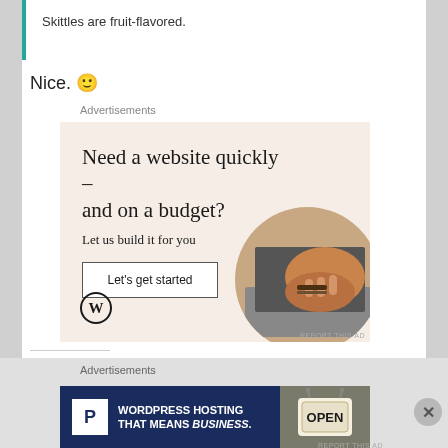Skittles are fruit-flavored.
Nice. 🙂
Advertisements
[Figure (illustration): WordPress advertisement: 'Need a website quickly – and on a budget? Let us build it for you' with a 'Let's get started' button, WordPress logo, and a circular photo of hands typing on a laptop.]
Share this:
Advertisements
[Figure (illustration): WordPress hosting banner ad: 'WORDPRESS HOSTING THAT MEANS BUSINESS.' with a P logo and a photo of an OPEN sign.]